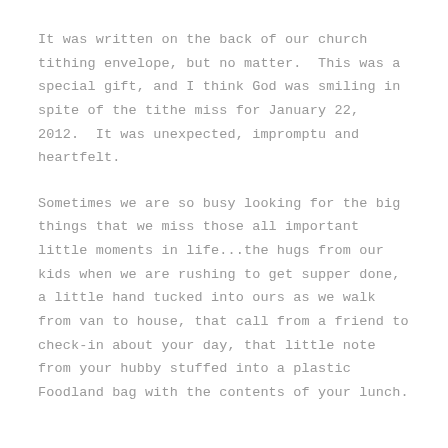It was written on the back of our church tithing envelope, but no matter.  This was a special gift, and I think God was smiling in spite of the tithe miss for January 22, 2012.  It was unexpected, impromptu and heartfelt.
Sometimes we are so busy looking for the big things that we miss those all important little moments in life...the hugs from our kids when we are rushing to get supper done, a little hand tucked into ours as we walk from van to house, that call from a friend to check-in about your day, that little note from your hubby stuffed into a plastic Foodland bag with the contents of your lunch.